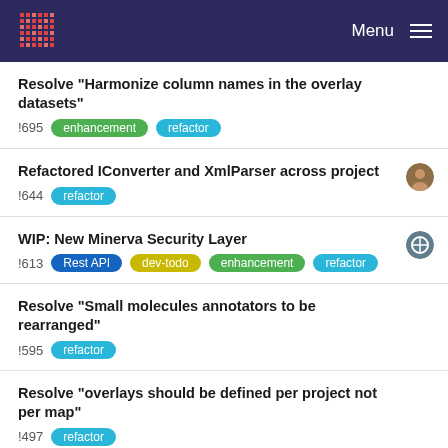Menu
Resolve "Harmonize column names in the overlay datasets"
!695   enhancement   refactor
Refactored IConverter and XmlParser across project
!644   refactor
WIP: New Minerva Security Layer
!613   Rest API   dev-todo   enhancement   refactor
Resolve "Small molecules annotators to be rearranged"
!595   refactor
Resolve "overlays should be defined per project not per map"
!497   refactor
Resolve "Implement Hibernate naming strategy"
!472   refactor